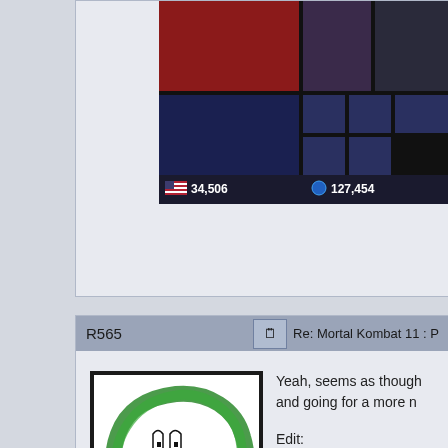[Figure (screenshot): Top portion of a forum page showing game thumbnails and stats bar with 34,506 and 127,454 counts]
R565
Re: Mortal Kombat 11 : P
[Figure (illustration): Hand-drawn avatar: a surprised face made of green crayon circle on white background with black border]
★★★★
Time to give back to this place. Starting now.
[Figure (infographic): User icons: US flag, bronze badge, Steam icon]
Yeah, seems as though and going for a more n
Edit:
https://www.shacknews for-mortal-kombat-11-c
Joey S.
Re: Mortal Kombat 11 : P